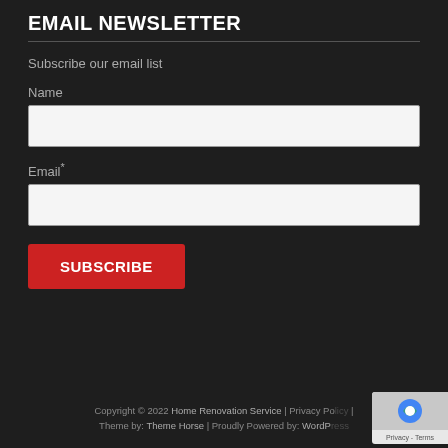EMAIL NEWSLETTER
Subscribe our email list
Name
Email*
SUBSCRIBE
Copyright © 2022 Home Renovation Service | Privacy Policy | Theme by: Theme Horse | Proudly Powered by: WordPress